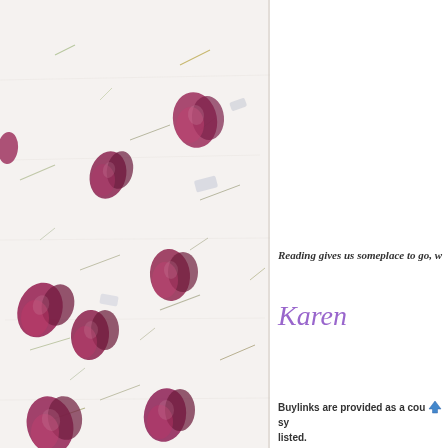[Figure (photo): Decorative floral image with pressed flower petals (dark pink/magenta) and green stems scattered on a white textured paper background, occupying the left portion of the page.]
Reading gives us someplace to go, w
Karen
Buylinks are provided as a courtesy listed.